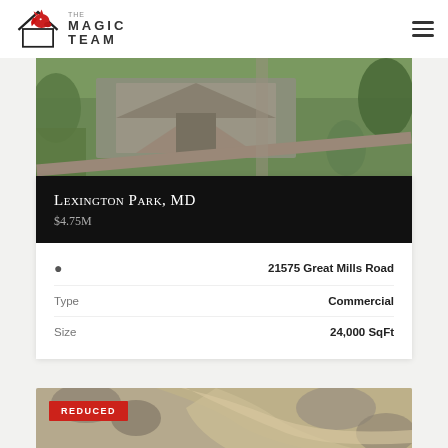[Figure (logo): The Magic Team real estate logo with red unicorn and house icon]
[Figure (photo): Aerial view of Lexington Park MD commercial property rooftop]
Lexington Park, MD
$4.75M
21575 Great Mills Road
Type  Commercial
Size  24,000 SqFt
[Figure (photo): Aerial view of second property with REDUCED badge, showing wooded landscape with sandy paths]